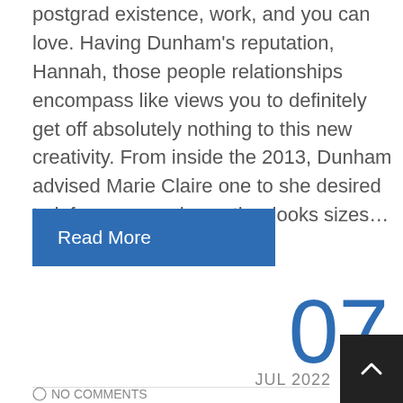postgrad existence, work, and you can love. Having Dunham's reputation, Hannah, those people relationships encompass like views you to definitely get off absolutely nothing to this new creativity. From inside the 2013, Dunham advised Marie Claire one to she desired to inform you various other looks sizes…
Read More
07
JUL 2022
NO COMMENTS